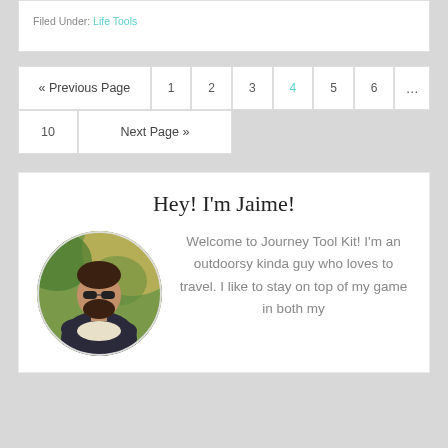Filed under: Life Tools
« Previous Page  1  2  3  4  5  6  ...  10  Next Page »
Hey! I'm Jaime!
[Figure (photo): Circular photo of a bearded man outdoors looking down at a map or paper, with green foliage in the background.]
Welcome to Journey Tool Kit! I'm an outdoorsy kinda guy who loves to travel. I like to stay on top of my game in both my